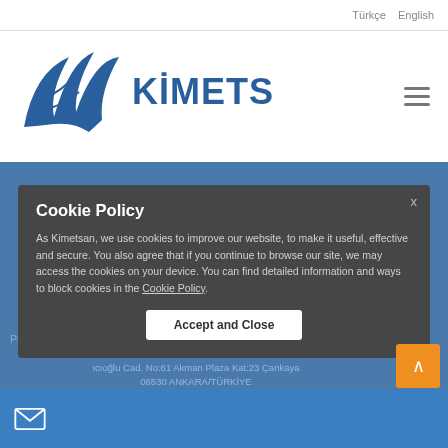Türkçe   English
[Figure (logo): Kimetsan company logo with stylized bird/wing mark and KIMETSAN text in blue]
Cookie Policy
As Kimetsan, we use cookies to improve our website, to make it useful, effective and secure. You also agree that if you continue to browse our site, we may access the cookies on your device. You can find detailed information and ways to block cookies in the Cookie Policy.
Accept and Close
Photographic Chemicals
CHEMICAL, MINING & METALLURGICAL INDUSTRIES
Headquarters:
ıcıoğlu Cad. No:61 Akman Plaza Kat:23 Çankaya 06530 ANKARA/TÜRKİYE